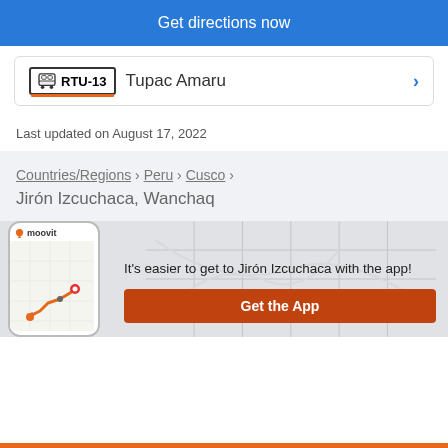Get directions now
RTU-13   Tupac Amaru
Last updated on August 17, 2022
Countries/Regions › Peru › Cusco ›
Jirón Izcuchaca, Wanchaq
[Figure (screenshot): Moovit app phone mockup showing a route map with orange path and location pins]
It's easier to get to Jirón Izcuchaca with the app!
Get the App